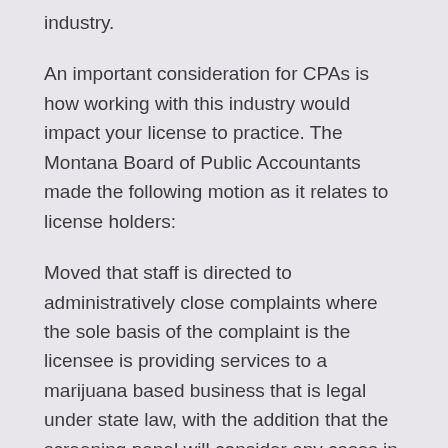industry.
An important consideration for CPAs is how working with this industry would impact your license to practice. The Montana Board of Public Accountants made the following motion as it relates to license holders:
Moved that staff is directed to administratively close complaints where the sole basis of the complaint is the licensee is providing services to a marijuana based business that is legal under state law, with the addition that the screening panel will consider any cases in which the licensee has been convicted of a crime.
The implication of this is your license would not be put at risk from a complaint, BUT (and this is a huge but) if the federal government found you guilty of breaking the law your license would be at risk. Currently CPAs serving the cannabis industry could be found guilty of breaking federal laws. The